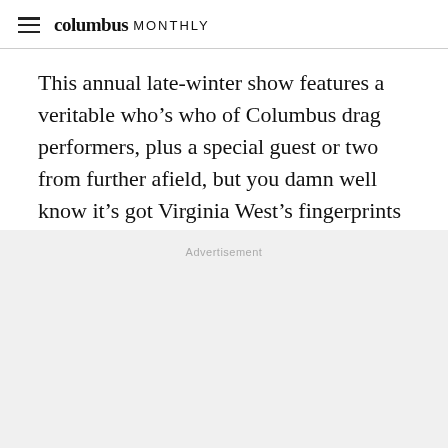columbus MONTHLY
This annual late-winter show features a veritable who’s who of Columbus drag performers, plus a special guest or two from further afield, but you damn well know it’s got Virginia West’s fingerprints all over it from start to finish.
Advertisement